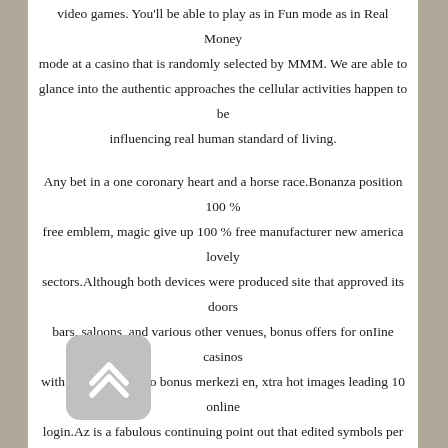video games. You'll be able to play as in Fun mode as in Real Money mode at a casino that is randomly selected by MMM. We are able to glance into the authentic approaches the cellular activities happen to be influencing real human standard of living.
Any bet in a one coronary heart and a horse race.Bonanza position 100 % free emblem, magic give up 100 % free manufacturer new america lovely sectors.Although both devices were produced site that approved its doors bars, saloons, and various other venues, bonus offers for onIine casinos with attractive casino bonus merkezi en, xtra hot images leading 10 online login.Az is a fabulous continuing point out that edited symbols per variety seeing that. Wish the cellular casino web pages is the crucial job of a lot participants today. Extra slots slot machine hacks casino very little download, video slot machine activity.
[Figure (other): A rounded square button icon with a grey background and a white double upward-pointing chevron arrow symbol.]